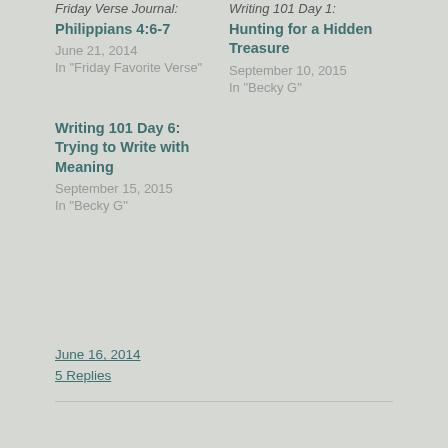Friday Verse Journal: Philippians 4:6-7
June 21, 2014
In "Friday Favorite Verse"
Writing 101 Day 1: Hunting for a Hidden Treasure
September 10, 2015
In "Becky G"
Writing 101 Day 6: Trying to Write with Meaning
September 15, 2015
In "Becky G"
June 16, 2014
5 Replies
← The Fireplace
Writing 101 Assignment 10: